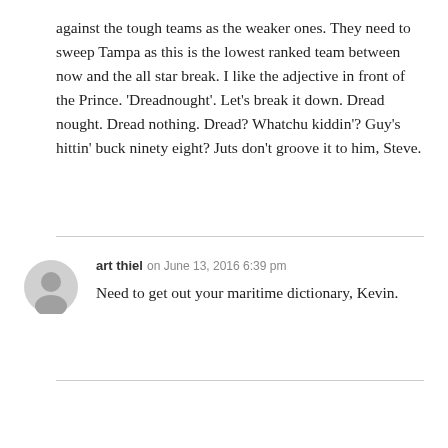against the tough teams as the weaker ones. They need to sweep Tampa as this is the lowest ranked team between now and the all star break. I like the adjective in front of the Prince. 'Dreadnought'. Let's break it down. Dread nought. Dread nothing. Dread? Whatchu kiddin'? Guy's hittin' buck ninety eight? Juts don't groove it to him, Steve.
art thiel on June 13, 2016 6:39 pm
Need to get out your maritime dictionary, Kevin.